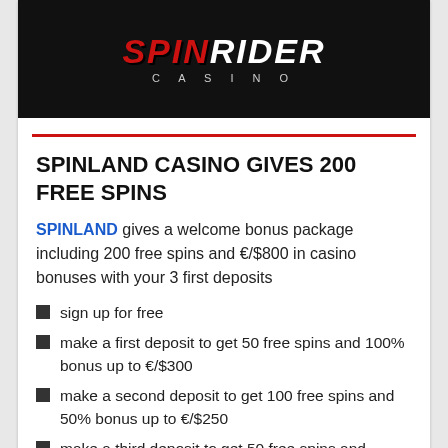[Figure (logo): SpinRider Casino logo on dark background with red and white stylized text and 'CASINO' subtitle]
SPINLAND CASINO GIVES 200 FREE SPINS
SPINLAND gives a welcome bonus package including 200 free spins and €/$800 in casino bonuses with your 3 first deposits
sign up for free
make a first deposit to get 50 free spins and 100% bonus up to €/$300
make a second deposit to get 100 free spins and 50% bonus up to €/$250
make a third deposit to get 50 free spins and